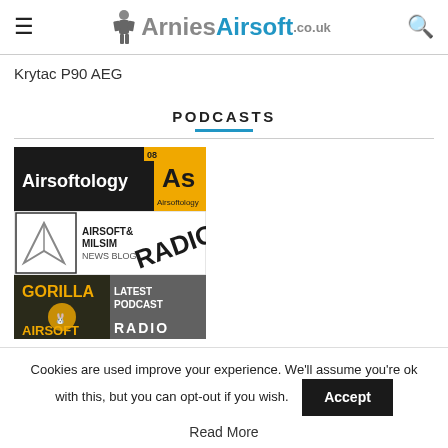ArniesAirsoft.co.uk
Krytac P90 AEG
PODCASTS
[Figure (screenshot): Airsoftology podcast logo thumbnail - black and yellow with 'As' and 'Airsoftology' text]
[Figure (screenshot): Airsoft & Milsim News Blog RADIO podcast logo thumbnail]
[Figure (screenshot): Gorilla Airsoft Radio latest podcast thumbnail]
Cookies are used improve your experience. We'll assume you're ok with this, but you can opt-out if you wish. Accept
Read More